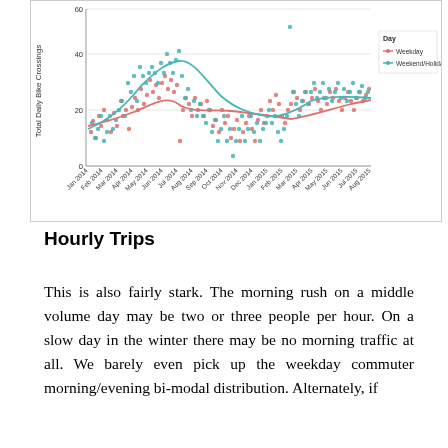[Figure (continuous-plot): Scatter plot with smoothing curves showing Total Daily Bike Crossings over time from Jan 2014 to Aug 2015. Two series: Weekday (salmon/pink points with pink trend line) and Weekend/Holiday (teal/cyan points with teal trend line). Y-axis: 0, 20, 40, 60. X-axis: monthly labels Jan 2014 through Aug 2015.]
Hourly Trips
This is also fairly stark. The morning rush on a middle volume day may be two or three people per hour. On a slow day in the winter there may be no morning traffic at all. We barely even pick up the weekday commuter morning/evening bi-modal distribution. Alternately, if